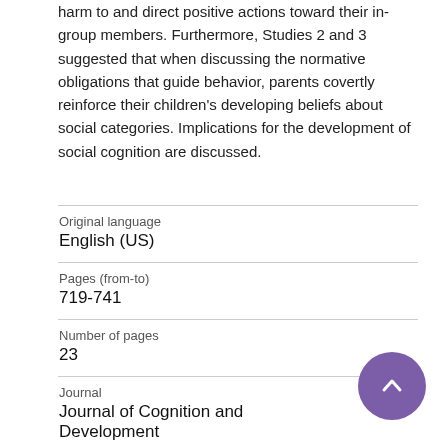harm to and direct positive actions toward their in-group members. Furthermore, Studies 2 and 3 suggested that when discussing the normative obligations that guide behavior, parents covertly reinforce their children's developing beliefs about social categories. Implications for the development of social cognition are discussed.
| Field | Value |
| --- | --- |
| Original language | English (US) |
| Pages (from-to) | 719-741 |
| Number of pages | 23 |
| Journal | Journal of Cognition and Development |
| Volume | 16 |